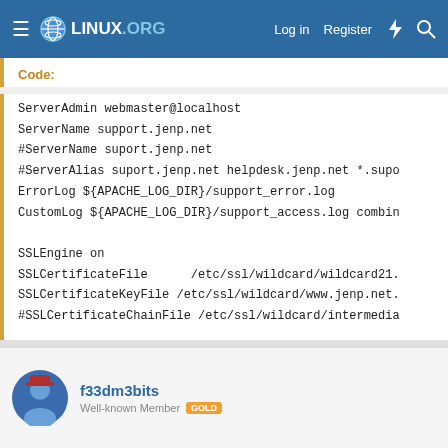LINUX.ORG  Log in  Register
Code:
ServerAdmin webmaster@localhost
ServerName support.jenp.net
#ServerName suport.jenp.net
#ServerAlias suport.jenp.net helpdesk.jenp.net *.supo
ErrorLog ${APACHE_LOG_DIR}/support_error.log
CustomLog ${APACHE_LOG_DIR}/support_access.log combin

SSLEngine on
SSLCertificateFile      /etc/ssl/wildcard/wildcard21.
SSLCertificateKeyFile /etc/ssl/wildcard/www.jenp.net.
#SSLCertificateChainFile /etc/ssl/wildcard/intermedia

DocumentRoot /var/www/helpdesk

<Directory /var/www/helpdesk>
Options FollowSymLinks MultiViews
AllowOverride all
f33dm3bits